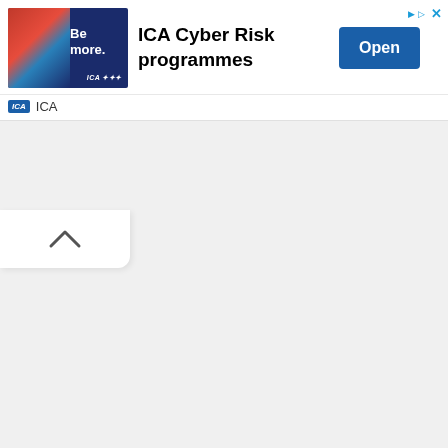[Figure (illustration): ICA advertisement banner with image of three people (two men and a woman) holding a sign, with 'Be more.' text on dark blue background]
ICA Cyber Risk programmes
Open
ICA
[Figure (illustration): Collapse/chevron up button UI element]